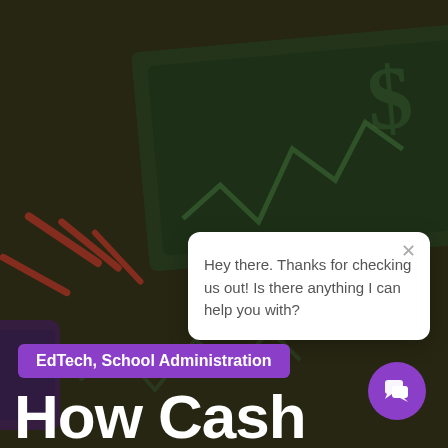[Figure (illustration): Dark olive/brown background with illustrated money/dollar bill and graph elements in green and red, serving as a decorative hero image for an EdTech article about cash.]
[Figure (screenshot): White chat popup widget with close X button and message: Hey there. Thanks for checking us out! Is there anything I can help you with?]
Hey there. Thanks for checking us out! Is there anything I can help you with?
EdTech, School Administration
How Cash